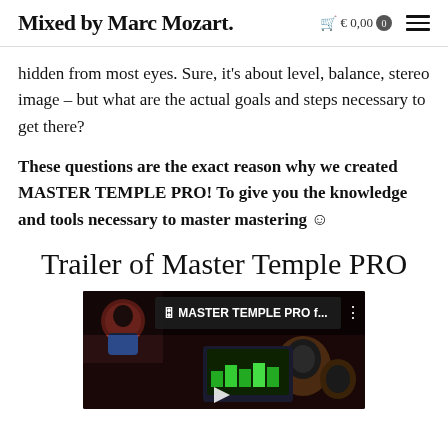Mixed by Marc Mozart. € 0,00 0 ☰
hidden from most eyes. Sure, it's about level, balance, stereo image – but what are the actual goals and steps necessary to get there?
These questions are the exact reason why we created MASTER TEMPLE PRO! To give you the knowledge and tools necessary to master mastering ☺
Trailer of Master Temple PRO
[Figure (screenshot): YouTube video thumbnail for MASTER TEMPLE PRO showing a person on the left thumbnail and studio monitors on the right with a play button overlay]